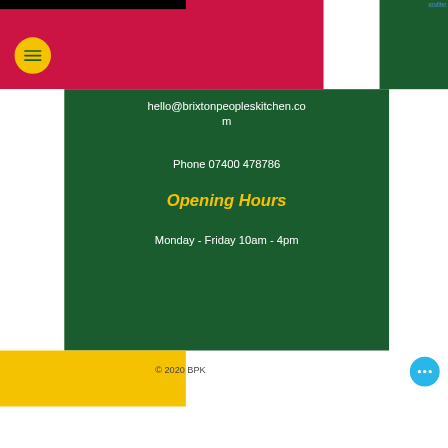profiler
[Figure (logo): Hamburger menu icon in yellow circle on dark green/red header background]
hello@brixtonpeopleskitchen.com
Phone 07400 478786
Opening Hours
Monday - Friday 10am - 4pm
© 2020 BPK